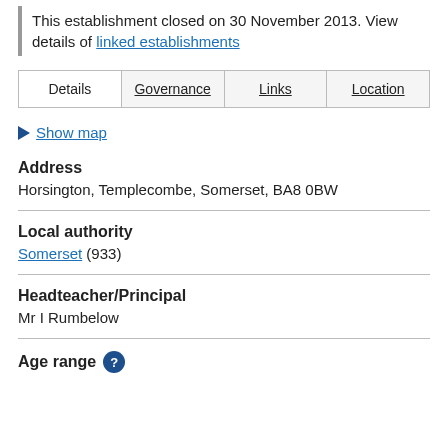This establishment closed on 30 November 2013. View details of linked establishments
| Details | Governance | Links | Location |
| --- | --- | --- | --- |
Show map
Address
Horsington, Templecombe, Somerset, BA8 0BW
Local authority
Somerset (933)
Headteacher/Principal
Mr I Rumbelow
Age range